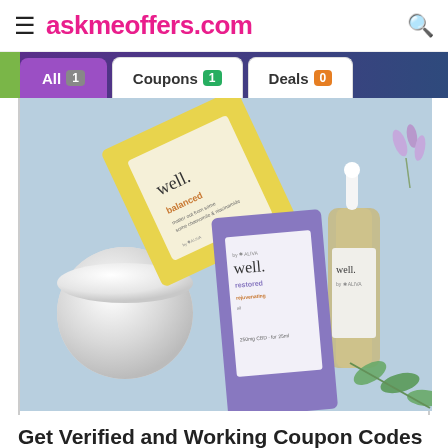askmeoffers.com
All 1  Coupons 1  Deals 0
[Figure (photo): Product photo of 'well.' branded skincare products by Aliva on a light blue background: a yellow box (well. balanced), a white round cream jar, a purple box (well. restored), and a glass dropper bottle (well.), with eucalyptus leaves in the corner.]
Get Verified and Working Coupon Codes for